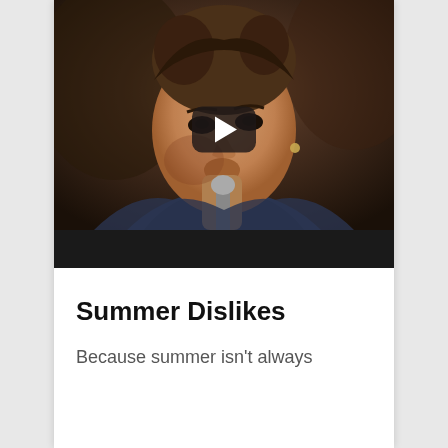[Figure (screenshot): Video thumbnail showing a singer holding a microphone close to their face, wearing a leather jacket with a white shirt, with a YouTube-style play button overlay in the center. The bottom portion of the thumbnail has a black bar.]
Summer Dislikes
Because summer isn't always